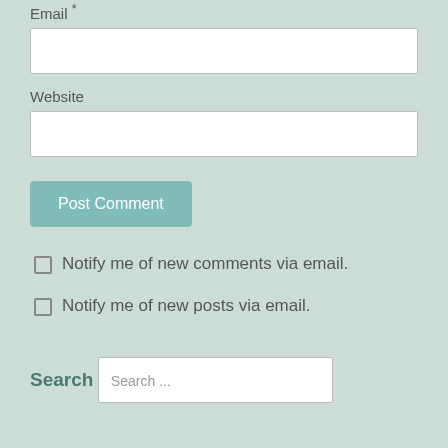Email *
Website
Post Comment
Notify me of new comments via email.
Notify me of new posts via email.
Search
Search ...